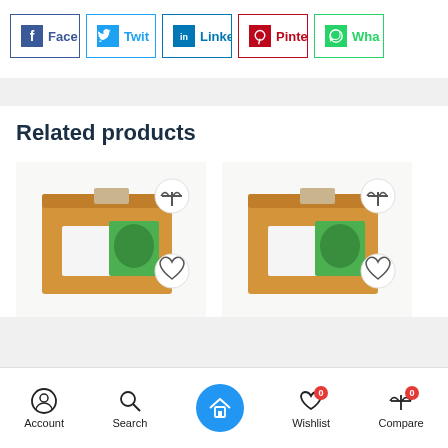[Figure (screenshot): Social media share buttons: Facebook, Twitter, LinkedIn, Pinterest, WhatsApp]
Related products
[Figure (photo): Two product cardboard boxes with green label, each with compare and wishlist action buttons]
Account  Search  Home  Wishlist 0  Compare 0